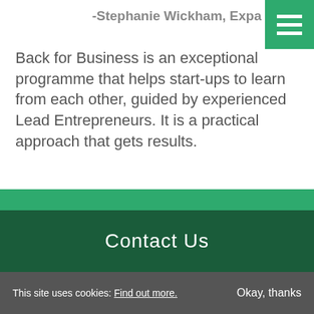-Stephanie Wickham, Expa
[Figure (other): Green hamburger/menu icon with three white horizontal bars on green background, top-right corner]
Back for Business is an exceptional programme that helps start-ups to learn from each other, guided by experienced Lead Entrepreneurs. It is a practical approach that gets results.
-Tom O'Brien, Sprintmodo
Contact Us
This site uses cookies: Find out more.
Okay, thanks